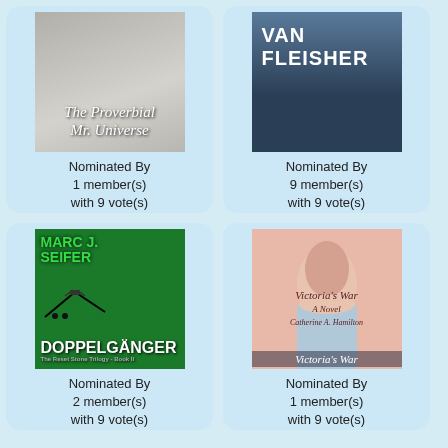[Figure (illustration): Book cover: The Proverbial Mr. Universe]
Nominated By
1 member(s)
with 9 vote(s)
NOMINATE
[Figure (illustration): Book cover: Van Fleisher]
Nominated By
9 member(s)
with 9 vote(s)
NOMINATE
[Figure (illustration): Book cover: Doppelgänger by Marc J. Seifer]
Nominated By
2 member(s)
with 9 vote(s)
[Figure (illustration): Book cover: Victoria's War by Catherine A. Hamilton]
Nominated By
1 member(s)
with 9 vote(s)